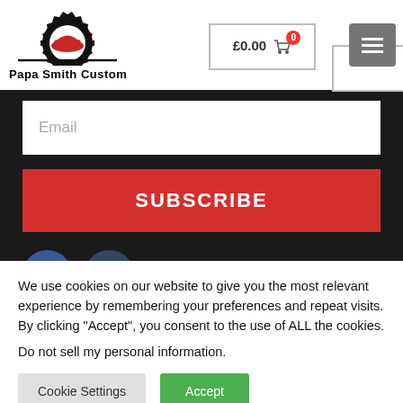[Figure (logo): Papa Smith Custom logo with gear and red car silhouette]
£0.00  0
[Figure (other): Hamburger menu icon on grey background]
[Figure (other): Email input field with placeholder text 'Email']
SUBSCRIBE
[Figure (other): Facebook and Tumblr social media icon circles]
We use cookies on our website to give you the most relevant experience by remembering your preferences and repeat visits. By clicking "Accept", you consent to the use of ALL the cookies.
Do not sell my personal information.
Cookie Settings
Accept